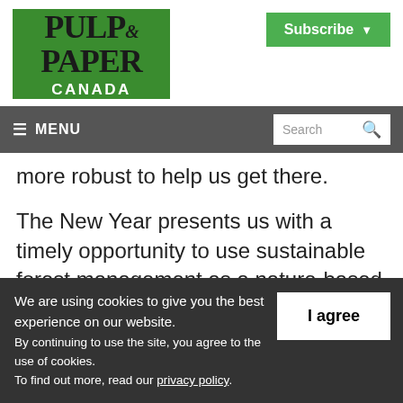[Figure (logo): Pulp & Paper Canada logo on green background]
[Figure (screenshot): Subscribe button with dropdown arrow in green]
≡ MENU   Search
more robust to help us get there.
The New Year presents us with a timely opportunity to use sustainable forest management as a nature-based climate
We are using cookies to give you the best experience on our website.
By continuing to use the site, you agree to the use of cookies.
To find out more, read our privacy policy.